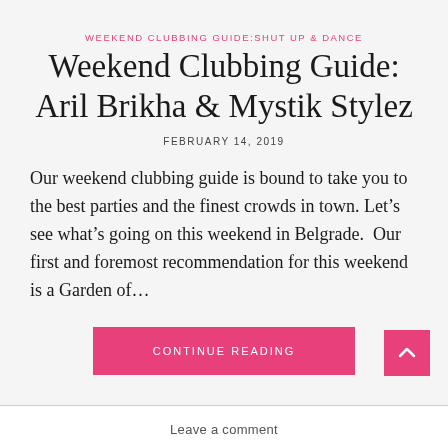WEEKEND CLUBBING GUIDE:SHUT UP & DANCE
Weekend Clubbing Guide: Aril Brikha & Mystik Stylez
FEBRUARY 14, 2019
Our weekend clubbing guide is bound to take you to the best parties and the finest crowds in town. Let's see what's going on this weekend in Belgrade.  Our first and foremost recommendation for this weekend is a Garden of…
CONTINUE READING
Leave a comment